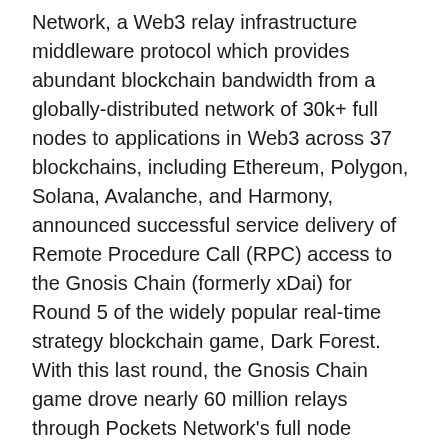Network, a Web3 relay infrastructure middleware protocol which provides abundant blockchain bandwidth from a globally-distributed network of 30k+ full nodes to applications in Web3 across 37 blockchains, including Ethereum, Polygon, Solana, Avalanche, and Harmony, announced successful service delivery of Remote Procedure Call (RPC) access to the Gnosis Chain (formerly xDai) for Round 5 of the widely popular real-time strategy blockchain game, Dark Forest. With this last round, the Gnosis Chain game drove nearly 60 million relays through Pockets Network's full node decentralized infrastructure in just the span of a few days.
According to DappRadar, user statistics show the rapid pace of adoption of blockchain gaming. The number of daily unique wallets interacting with game-related smart contracts surged to 1.3 million last year, a 46-fold increase over the 28,000 at the end of 2020. Games like Dark Forest's growth in popularity strengthens the ongoing need for decentralized and